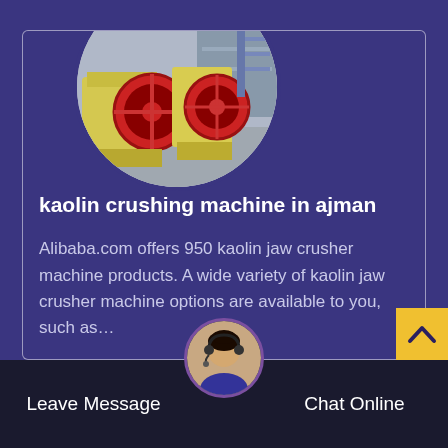[Figure (photo): Circular cropped photo of industrial jaw crusher machines in a factory — large yellow machines with red flywheel discs on a factory floor with metal shelving in background]
kaolin crushing machine in ajman
Alibaba.com offers 950 kaolin jaw crusher machine products. A wide variety of kaolin jaw crusher machine options are available to you, such as…
[Figure (photo): Circular cropped photo of a customer service representative woman wearing a headset, smiling]
Leave Message   Chat Online